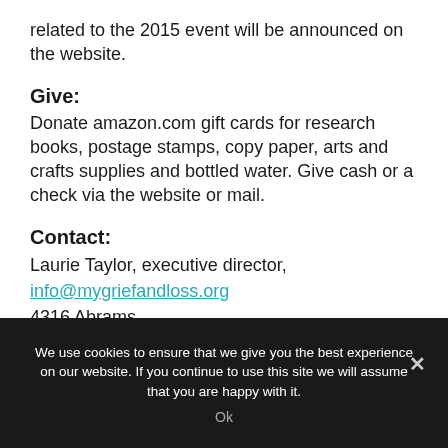related to the 2015 event will be announced on the website.
Give:
Donate amazon.com gift cards for research books, postage stamps, copy paper, arts and crafts supplies and bottled water. Give cash or a check via the website or mail.
Contact:
Laurie Taylor, executive director,
info@mygriefandloss.org
4316 Abrams
We use cookies to ensure that we give you the best experience on our website. If you continue to use this site we will assume that you are happy with it.
Ok